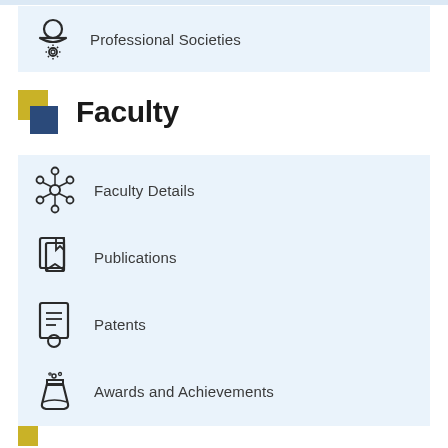Professional Societies
Faculty
Faculty Details
Publications
Patents
Awards and Achievements